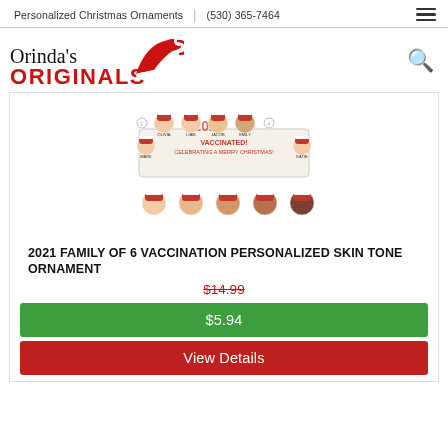Personalized Christmas Ornaments | (530) 365-7464
[Figure (logo): Orinda's ORIGINALS logo with red Santa hat swoosh graphic]
[Figure (photo): 2021 Family of 6 Vaccination Personalized Skin Tone Ornament product photo showing ornament with family faces in Santa hats and a row of skin tone face options below]
2021 FAMILY OF 6 VACCINATION PERSONALIZED SKIN TONE ORNAMENT
$14.99
$5.94
View Details